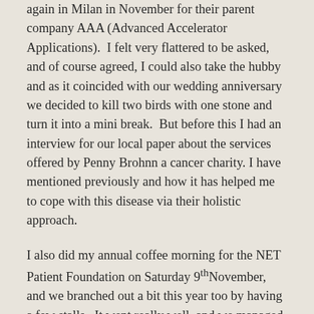again in Milan in November for their parent company AAA (Advanced Accelerator Applications).  I felt very flattered to be asked, and of course agreed, I could also take the hubby and as it coincided with our wedding anniversary we decided to kill two birds with one stone and turn it into a mini break.  But before this I had an interview for our local paper about the services offered by Penny Brohnn a cancer charity. I have mentioned previously and how it has helped me to cope with this disease via their holistic approach.
I also did my annual coffee morning for the NET Patient Foundation on Saturday 9th November, and we branched out a bit this year too by having a few stalls.  It went really well, and we managed to raise £450 on the day, so I would like to say a big thank you to everybody who helped and attended, I couldn't do it without you. As it so happens, the newspaper article was also published that day and this is the link if you would like a read, the